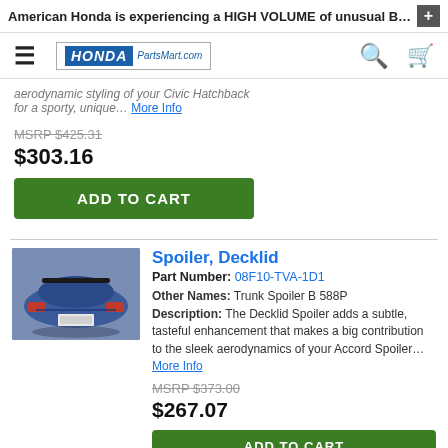American Honda is experiencing a HIGH VOLUME of unusual B…
[Figure (logo): Honda PartsMart.com logo with hamburger menu, search, and cart icons]
aerodynamic styling of your Civic Hatchback for a sporty, unique… More Info
MSRP $425.31
$303.16
ADD TO CART
[Figure (photo): Blue Honda Accord rear view showing decklid spoiler]
Spoiler, Decklid
Part Number: 08F10-TVA-1D1
Other Names: Trunk Spoiler B 588P
Description: The Decklid Spoiler adds a subtle, tasteful enhancement that makes a big contribution to the sleek aerodynamics of your Accord Spoiler… More Info
MSRP $373.00
$267.07
ADD TO CART